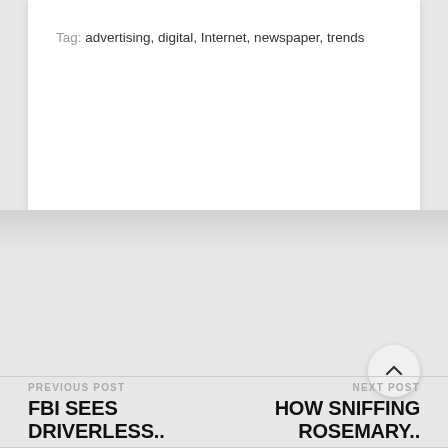Tag: advertising, digital, Internet, newspaper, trends
PREVIOUS POST
FBI SEES DRIVERLESS..
NEXT POST
HOW SNIFFING ROSEMARY..